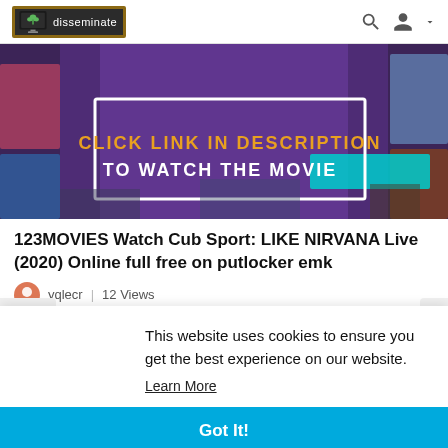disseminate
[Figure (screenshot): Banner image with purple background and movie collage showing text: CLICK LINK IN DESCRIPTION TO WATCH THE MOVIE in orange and white letters inside a white rectangle border]
123MOVIES Watch Cub Sport: LIKE NIRVANA Live (2020) Online full free on putlocker emk
yqlecr | 12 Views
This website uses cookies to ensure you get the best experience on our website.
Learn More
Got It!